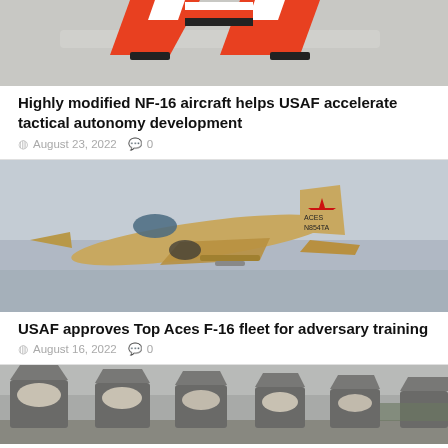[Figure (photo): Top portion of an NF-16 aircraft with orange/red and white markings viewed from below]
Highly modified NF-16 aircraft helps USAF accelerate tactical autonomy development
August 23, 2022   0
[Figure (photo): Top Aces F-16 aircraft in gold/tan livery with red star on tail, registration N854TA, in flight against blue-grey sky]
USAF approves Top Aces F-16 fleet for adversary training
August 16, 2022   0
[Figure (photo): Row of covered fighter jets (F-22 Raptors) parked on ramp, tail fins visible with covers on cockpits]